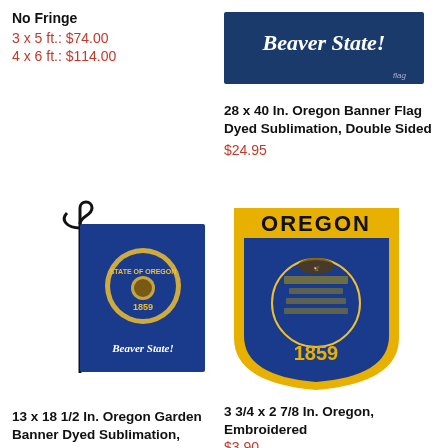No Fringe
3 x 5 ft.: $74.00
4 x 6 ft.: $114.00
[Figure (illustration): Beaver State! banner flag on blue background with gold text]
28 x 40 In. Oregon Banner Flag Dyed Sublimation, Double Sided
$24.95
[Figure (illustration): 13 x 18.5 inch Oregon garden flag on black metal stand, blue with yellow State of Oregon seal and Beaver State text]
[Figure (illustration): Oregon embroidered shield patch, gold border, blue center with Oregon state seal and 1859, OREGON text at top]
13 x 18 1/2 In. Oregon Garden Banner Dyed Sublimation, Double
3 3/4 x 2 7/8 In. Oregon, Embroidered
$3.90